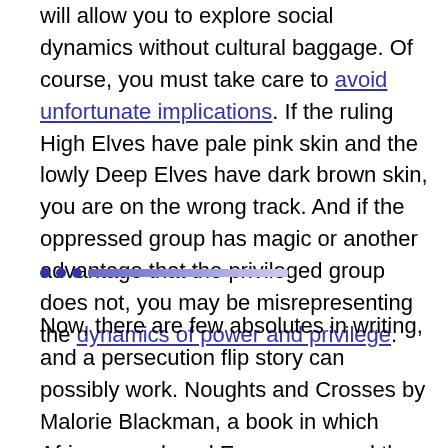will allow you to explore social dynamics without cultural baggage. Of course, you must take care to avoid unfortunate implications. If the ruling High Elves have pale pink skin and the lowly Deep Elves have dark brown skin, you are on the wrong track. And if the oppressed group has magic or another advantage that the privileged group does not, you may be misrepresenting the dynamics of power and privilege.
Now, there are few absolutes in writing, and a persecution flip story can possibly work. Noughts and Crosses by Malorie Blackman, a book in which Africans enslaved Europeans, and the Sliders